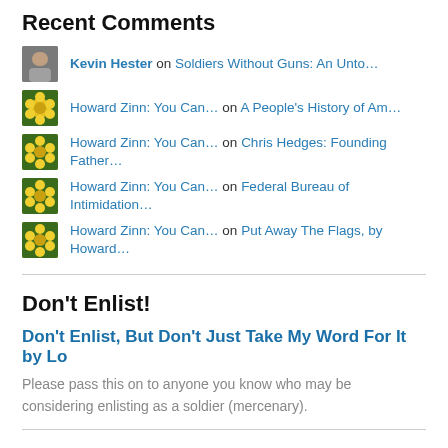Recent Comments
Kevin Hester on Soldiers Without Guns: An Unto…
Howard Zinn: You Can… on A People's History of Am…
Howard Zinn: You Can… on Chris Hedges: Founding Father…
Howard Zinn: You Can… on Federal Bureau of Intimidation…
Howard Zinn: You Can… on Put Away The Flags, by Howard…
Don't Enlist!
Don't Enlist, But Don't Just Take My Word For It by Lo
Please pass this on to anyone you know who may be considering enlisting as a soldier (mercenary).
Top Viewed For The Past 2 Days
Howard Zinn: You Can't Be Neutral On A Moving Train